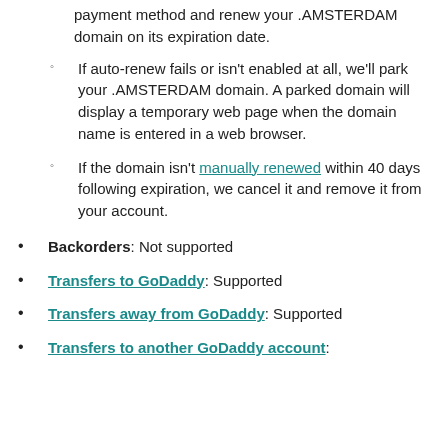payment method and renew your .AMSTERDAM domain on its expiration date.
If auto-renew fails or isn't enabled at all, we'll park your .AMSTERDAM domain. A parked domain will display a temporary web page when the domain name is entered in a web browser.
If the domain isn't manually renewed within 40 days following expiration, we cancel it and remove it from your account.
Backorders: Not supported
Transfers to GoDaddy: Supported
Transfers away from GoDaddy: Supported
Transfers to another GoDaddy account: